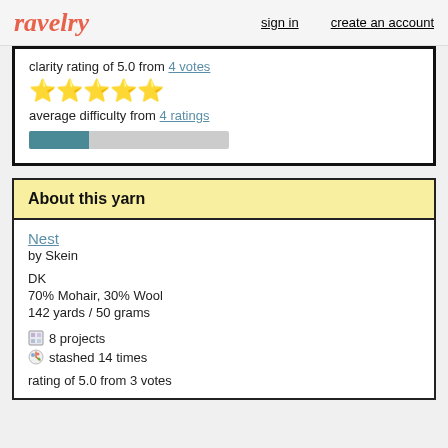ravelry  sign in  create an account
clarity rating of 5.0 from 4 votes
[Figure (other): Five gold star rating icons]
average difficulty from 4 ratings
[Figure (other): Difficulty progress bar, approximately 30% filled in teal/dark blue, rest grey]
About this yarn
Nest
by Skein

DK
70% Mohair, 30% Wool
142 yards / 50 grams

8 projects
stashed 14 times

rating of 5.0 from 3 votes